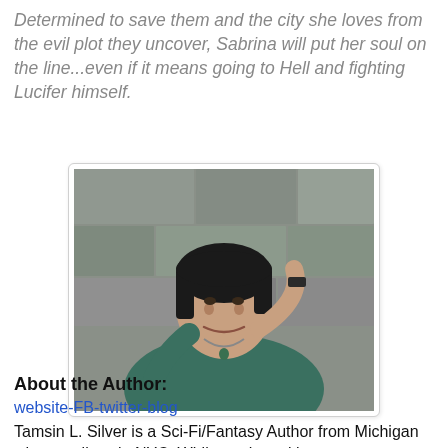Determined to save them and the city she loves from the evil plot they uncover, Sabrina will put her soul on the line...even if it means going to Hell and fighting Lucifer himself.
[Figure (photo): Author photo: a woman with short dark hair smiling, wearing a teal/green top and necklace, posing against a stone wall background with one hand raised to her hair.]
About the Author:
website-FB-twitter-blog
Tamsin L. Silver is a Sci-Fi/Fantasy Author from Michigan who now lives in NYC. While on the writing